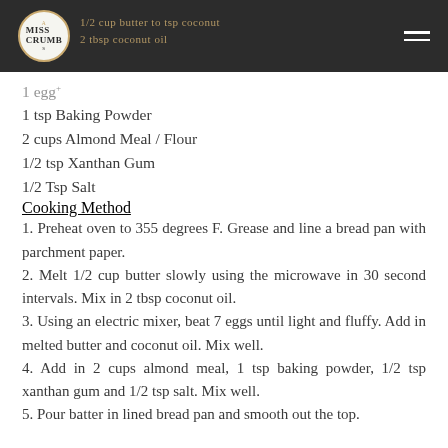Miss Crumbs
1 egg
1 tsp Baking Powder
2 cups Almond Meal / Flour
1/2 tsp Xanthan Gum
1/2 Tsp Salt
Cooking Method
1. Preheat oven to 355 degrees F. Grease and line a bread pan with parchment paper.
2. Melt 1/2 cup butter slowly using the microwave in 30 second intervals. Mix in 2 tbsp coconut oil.
3. Using an electric mixer, beat 7 eggs until light and fluffy. Add in melted butter and coconut oil. Mix well.
4. Add in 2 cups almond meal, 1 tsp baking powder, 1/2 tsp xanthan gum and 1/2 tsp salt. Mix well.
5. Pour batter in lined bread pan and smooth out the top.